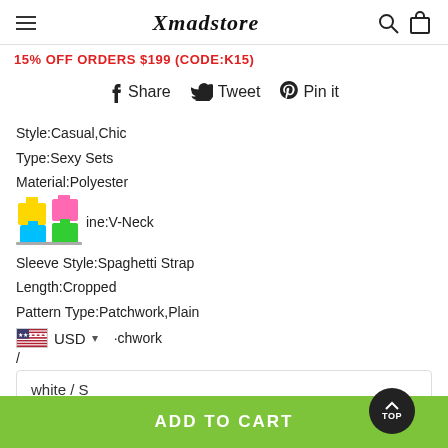Xmadstore
15% OFF ORDERS $199 (CODE:K15)
Share   Tweet   Pin it
Style:Casual,Chic
Type:Sexy Sets
Material:Polyester
Neckline:V-Neck
Sleeve Style:Spaghetti Strap
Length:Cropped
Pattern Type:Patchwork,Plain
USD
white / S
ADD TO CART